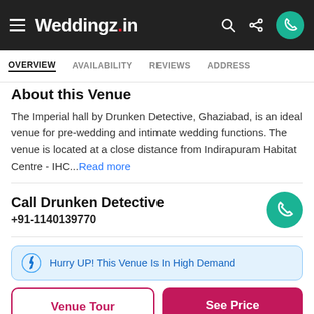Weddingz.in
OVERVIEW | AVAILABILITY | REVIEWS | ADDRESS
About this Venue
The Imperial hall by Drunken Detective, Ghaziabad, is an ideal venue for pre-wedding and intimate wedding functions. The venue is located at a close distance from Indirapuram Habitat Centre - IHC...Read more
Call Drunken Detective
+91-1140139770
Hurry UP! This Venue Is In High Demand
Venue Tour
See Price